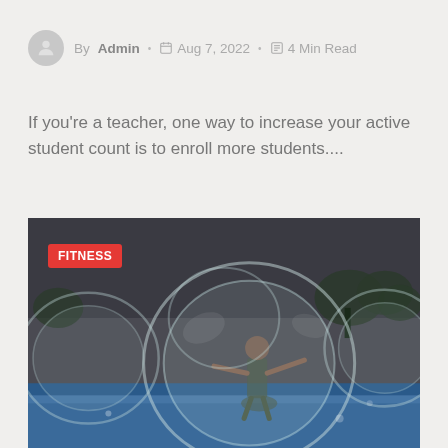By Admin · Aug 7, 2022 · 4 Min Read
If you're a teacher, one way to increase your active student count is to enroll more students....
[Figure (photo): A person inside a large transparent inflatable zorb ball on a pool of water, with other zorb balls visible in the background. A red FITNESS badge overlays the top-left corner of the image.]